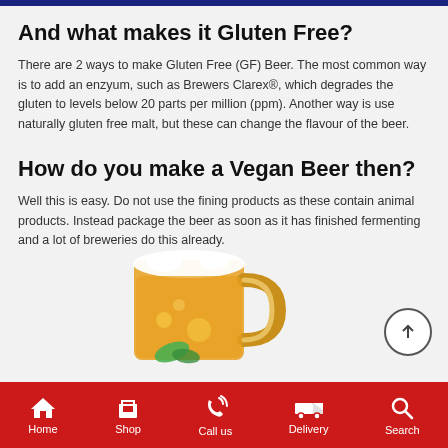And what makes it Gluten Free?
There are 2 ways to make Gluten Free (GF) Beer. The most common way is to add an enzyum, such as Brewers Clarex®, which degrades the gluten to levels below 20 parts per million (ppm). Another way is use naturally gluten free malt, but these can change the flavour of the beer.
How do you make a Vegan Beer then?
Well this is easy. Do not use the fining products as these contain animal products. Instead package the beer as soon as it has finished fermenting and a lot of breweries do this already.
[Figure (photo): A glass beer mug filled with golden beer and garnished with a mint leaf]
Home  Shop  Call us  Delivery  Search